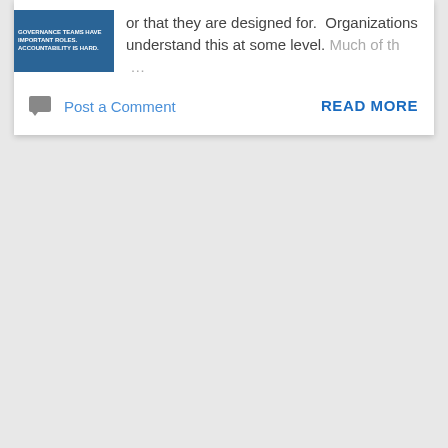[Figure (screenshot): Thumbnail image with blue background and white text related to governance/accountability topics]
or that they are designed for.  Organizations understand this at some level. Much of th ...
Post a Comment
READ MORE